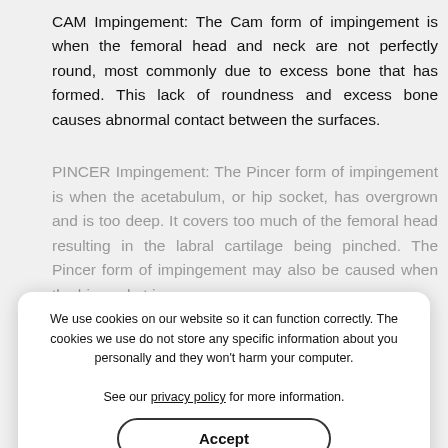CAM Impingement: The Cam form of impingement is when the femoral head and neck are not perfectly round, most commonly due to excess bone that has formed. This lack of roundness and excess bone causes abnormal contact between the surfaces.
PINCER Impingement: The Pincer form of impingement is when the acetabulum, or hip socket, has overgrown and is too deep. It covers too much of the femoral head resulting in the labral cartilage being pinched. The Pincer form of impingement may also be caused when the hip socket is
We use cookies on our website so it can function correctly. The cookies we use do not store any specific information about you personally and they won't harm your computer.

See our privacy policy for more information.
Accept